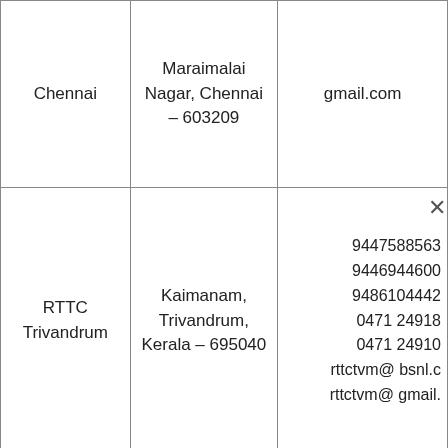| Location | Address | Contact |
| --- | --- | --- |
| Chennai | Maraimalai Nagar, Chennai – 603209 | gmail.com… |
| RTTC Trivandrum | Kaimanam, Trivandrum, Kerala – 695040 | 9447588563
9446944600
9486104442
0471 249182
0471 249109
rttctvm@ bsnl.c
rttctvm@ gmail. |
|  | RTTC Mysore, |  |